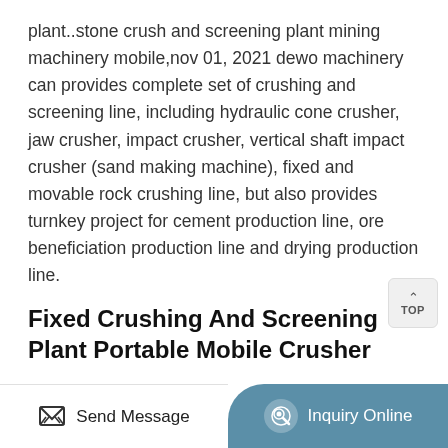plant..stone crush and screening plant mining machinery mobile,nov 01, 2021 dewo machinery can provides complete set of crushing and screening line, including hydraulic cone crusher, jaw crusher, impact crusher, vertical shaft impact crusher (sand making machine), fixed and movable rock crushing line, but also provides turnkey project for cement production line, ore beneficiation production line and drying production line.
Fixed Crushing And Screening Plant Portable Mobile Crusher
gypsum mobile crushing plant. processed materials gypsum. feed size 700mm. discharging size 0-40mm,100-150mm. capacity 400tph. fixed crushing and screening plant portable mobile crusher line of ball...
Send Message | Inquiry Online